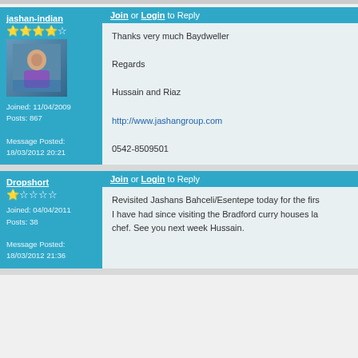jashan-indian
Joined: 11/04/2009 Posts: 867 Message Posted: 18/03/2012 20:21
Join or Login to Reply
Thanks very much Baydweller

Regards

Hussain and Riaz

http://www.jashangroup.com

0542-8509501
Dropshort
Joined: 04/04/2011 Posts: 38 Message Posted: 18/03/2012 21:36
Join or Login to Reply
Revisited Jashans Bahceli/Esentepe today for the firs I have had since visiting the Bradford curry houses la chef. See you next week Hussain.